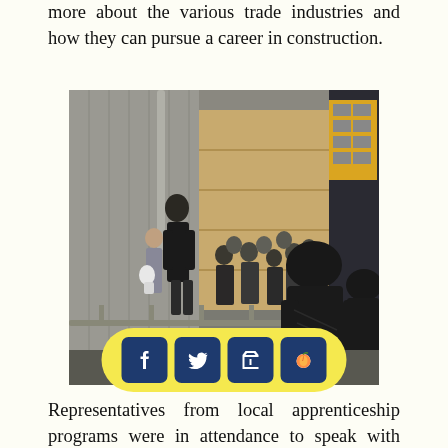more about the various trade industries and how they can pursue a career in construction.
[Figure (photo): A group of students in a construction/trade facility warehouse, listening to an instructor or presenter standing at the front near industrial equipment and a large garage door.]
Representatives from local apprenticeship programs were in attendance to speak with students and share what they do on a daily basis. FHC student William Carrington at [social share bar overlay] he would learn more about a career as a plumber or electrician. "Some students don't necessarily know what they want